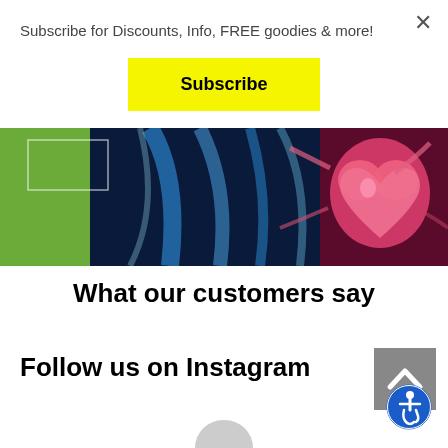Subscribe for Discounts, Info, FREE goodies & more!
×
Subscribe
[Figure (illustration): Medical/anatomy banner image showing skeletal/muscular structure on blue background with a glowing pink heart on the right side, green section on the left]
What our customers say
Follow us on Instagram
[Figure (other): Gray scroll-to-top button with white upward chevron arrow]
[Figure (other): Accessibility icon — blue circle with white wheelchair user symbol]
[Figure (other): Partial gray circle at bottom of page (partially cut off)]